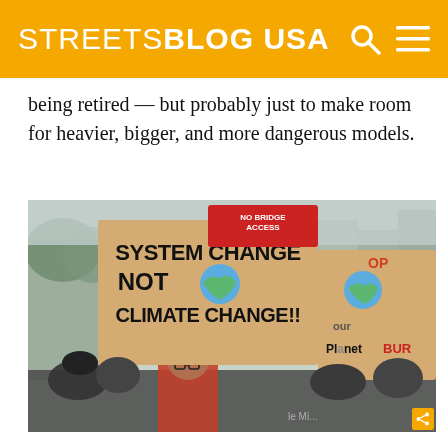STREETSBLOG USA
being retired — but probably just to make room for heavier, bigger, and more dangerous models.
[Figure (photo): A climate protest with a person holding a large cardboard sign reading 'SYSTEM CHANGE NOT CLIMATE CHANGE!!' with a globe illustration. Behind it, other signs including 'NO BRIDGE ACCESS' in red and partial signs reading 'DP our Planet BURN'. Crowd of protesters visible in background.]